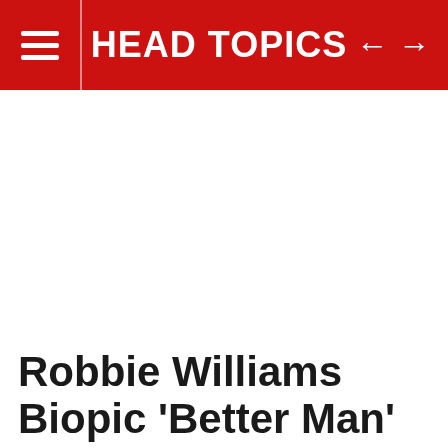HEAD TOPICS
Robbie Williams Biopic 'Better Man' to Film in